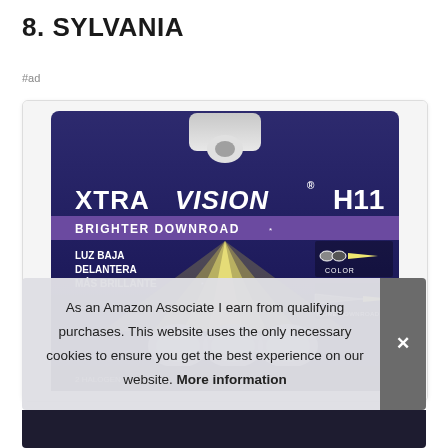8. SYLVANIA
#ad
[Figure (photo): Sylvania XtraVision H11 headlight bulb product packaging — dark purple/blue card with yellow beam imagery, text reads XTRAVISION H11, BRIGHTER DOWNROAD, LUZ BAJA DELANTERA MÁS BRILLANTE, with COLOR and MORE DOWNROAD callouts on right side, two bulbs visible at bottom]
As an Amazon Associate I earn from qualifying purchases. This website uses the only necessary cookies to ensure you get the best experience on our website. More information